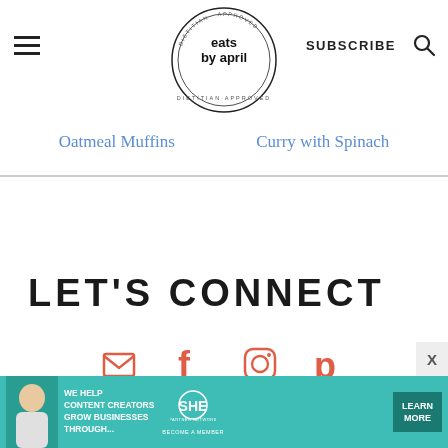eats by april — DIETITIAN APPROVED logo, hamburger menu, SUBSCRIBE, search icon
Oatmeal Muffins   Curry with Spinach
LET'S CONNECT
[Figure (infographic): Social media icons: email envelope, Facebook f, Instagram camera, Pinterest P — all in coral/red color]
ADVERTISEMENT
[Figure (infographic): SHE Media ad banner: teal background with woman photo, text 'WE HELP CONTENT CREATORS GROW BUSINESSES THROUGH...', SHE PARTNER NETWORK BECOME A MEMBER logo, LEARN MORE button]